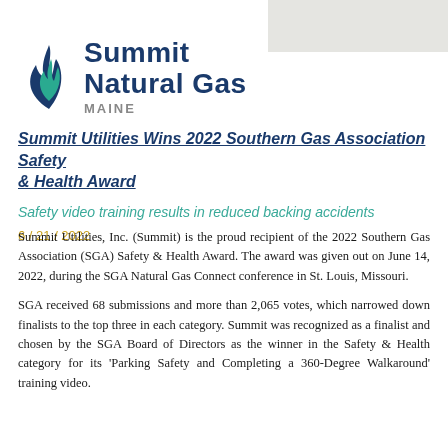[Figure (logo): Summit Natural Gas of Maine logo with teal flame icon and dark blue bold text reading Summit Natural Gas with MAINE below in grey]
Summit Utilities Wins 2022 Southern Gas Association Safety & Health Award
Safety video training results in reduced backing accidents
6 / 21 / 2022
Summit Utilities, Inc. (Summit) is the proud recipient of the 2022 Southern Gas Association (SGA) Safety & Health Award. The award was given out on June 14, 2022, during the SGA Natural Gas Connect conference in St. Louis, Missouri.
SGA received 68 submissions and more than 2,065 votes, which narrowed down finalists to the top three in each category. Summit was recognized as a finalist and chosen by the SGA Board of Directors as the winner in the Safety & Health category for its 'Parking Safety and Completing a 360-Degree Walkaround' training video.